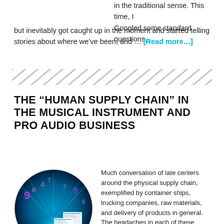in the traditional sense. This time, I Googled some standard questions, but inevitably got caught up in the moment and started telling stories about where we've been, and … [Read more...]
[Figure (other): Diagonal hatching/divider stripe decorative element]
THE "HUMAN SUPPLY CHAIN" IN THE MUSICAL INSTRUMENT AND PRO AUDIO BUSINESS
[Figure (illustration): Circular blue digital illustration with floating documents/dashboards, numbers, and glowing light beams on a dark blue background]
Much conversation of late centers around the physical supply chain, exemplified by container ships, trucking companies, raw materials, and delivery of products in general. The headaches in each of these areas appear to be compounding quickly in the trade, with unfortunate...